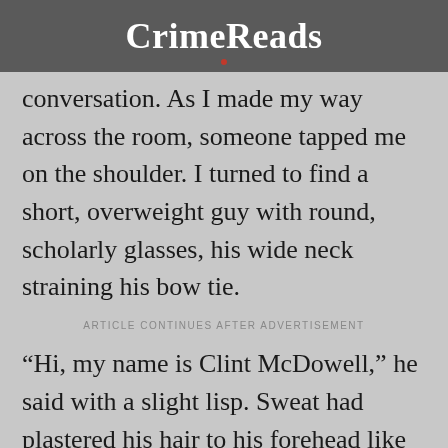CrimeReads
conversation. As I made my way across the room, someone tapped me on the shoulder. I turned to find a short, overweight guy with round, scholarly glasses, his wide neck straining his bow tie.
ARTICLE CONTINUES AFTER ADVERTISEMENT
“Hi, my name is Clint McDowell,” he said with a slight lisp. Sweat had plastered his hair to his forehead like wet spaghetti on a cold dish. Everything about him was either